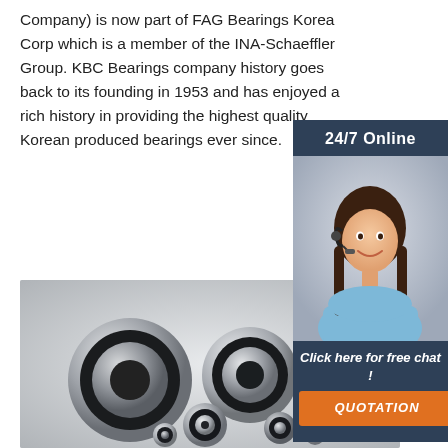Company) is now part of FAG Bearings Korea Corp which is a member of the INA-Schaeffler Group. KBC Bearings company history goes back to its founding in 1953 and has enjoyed a rich history in providing the highest quality Korean produced bearings ever since.
Get Price
[Figure (illustration): Sidebar advertisement banner with dark blue/slate background showing '24/7 Online' header, a photo of a smiling woman with a headset (customer service representative), text 'Click here for free chat!' and an orange 'QUOTATION' button.]
[Figure (photo): Photo of multiple metallic ball bearings of various sizes arranged in a group on a light grey background.]